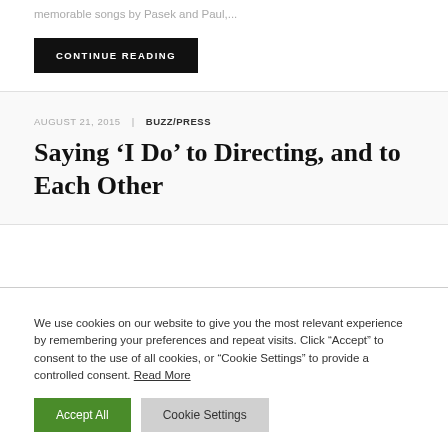memorable songs by Pasek and Paul,...
CONTINUE READING
AUGUST 21, 2015  |  BUZZ/PRESS
Saying ‘I Do’ to Directing, and to Each Other
We use cookies on our website to give you the most relevant experience by remembering your preferences and repeat visits. Click “Accept” to consent to the use of all cookies, or “Cookie Settings” to provide a controlled consent. Read More
Accept All
Cookie Settings